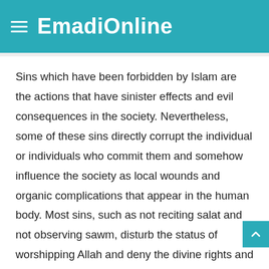EmadiOnline
Sins which have been forbidden by Islam are the actions that have sinister effects and evil consequences in the society. Nevertheless, some of these sins directly corrupt the individual or individuals who commit them and somehow influence the society as local wounds and organic complications that appear in the human body. Most sins, such as not reciting salat and not observing sawm, disturb the status of worshipping Allah and deny the divine rights and so fall within this category.
Some of the sins directly threaten the social life and annihilate the whole structure of the society like diseases